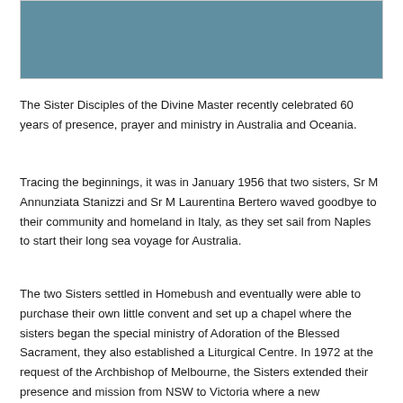[Figure (photo): A photograph placeholder showing a teal/blue-grey rectangular image area at the top of the page.]
The Sister Disciples of the Divine Master recently celebrated 60 years of presence, prayer and ministry in Australia and Oceania.
Tracing the beginnings, it was in January 1956 that two sisters, Sr M Annunziata Stanizzi and Sr M Laurentina Bertero waved goodbye to their community and homeland in Italy, as they set sail from Naples to start their long sea voyage for Australia.
The two Sisters settled in Homebush and eventually were able to purchase their own little convent and set up a chapel where the sisters began the special ministry of Adoration of the Blessed Sacrament, they also established a Liturgical Centre. In 1972 at the request of the Archbishop of Melbourne, the Sisters extended their presence and mission from NSW to Victoria where a new